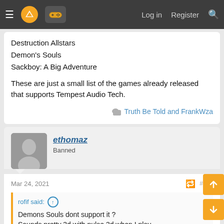Navigation bar with menu, logo, gamepad icon, grid, chat, Log in, Register, Search
Destruction Allstars
Demon's Souls
Sackboy: A Big Adventure
These are just a small list of the games already released that supports Tempest Audio Tech.
Truth Be Told and FrankWza
ethomaz
Banned
Mar 24, 2021
rofif said:
Demons Souls dont support it ?
Sounds pretty 3d with pulse 3d when I play